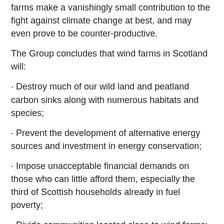farms make a vanishingly small contribution to the fight against climate change at best, and may even prove to be counter-productive.
The Group concludes that wind farms in Scotland will:
· Destroy much of our wild land and peatland carbon sinks along with numerous habitats and species;
· Prevent the development of alternative energy sources and investment in energy conservation;
· Impose unacceptable financial demands on those who can little afford them, especially the third of Scottish households already in fuel poverty;
· Divide communities located close to wind farms;
· Discourage...